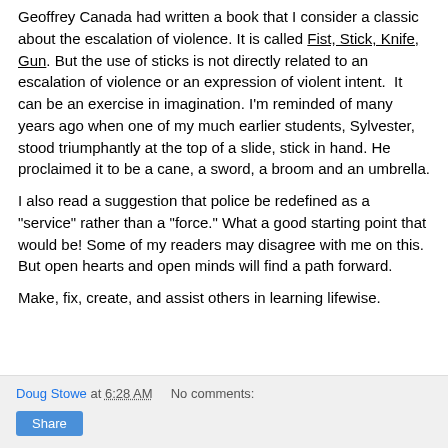Geoffrey Canada had written a book that I consider a classic about the escalation of violence. It is called Fist, Stick, Knife, Gun. But the use of sticks is not directly related to an escalation of violence or an expression of violent intent.  It can be an exercise in imagination. I'm reminded of many years ago when one of my much earlier students, Sylvester, stood triumphantly at the top of a slide, stick in hand. He proclaimed it to be a cane, a sword, a broom and an umbrella.
I also read a suggestion that police be redefined as a "service" rather than a "force." What a good starting point that would be! Some of my readers may disagree with me on this. But open hearts and open minds will find a path forward.
Make, fix, create, and assist others in learning lifewise.
Doug Stowe at 6:28 AM   No comments:   Share